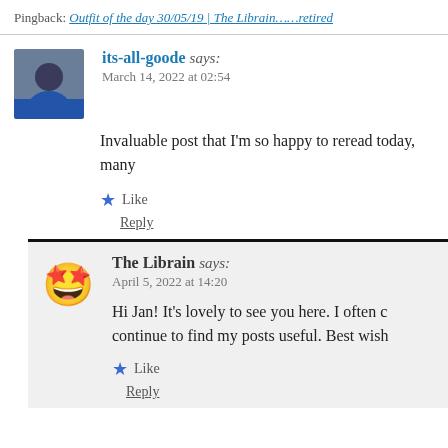Pingback: Outfit of the day 30/05/19 | The Librain……retired
its-all-goode says:
March 14, 2022 at 02:54
Invaluable post that I'm so happy to reread today, many
Like
Reply
The Librain says:
April 5, 2022 at 14:20
Hi Jan! It's lovely to see you here. I often c… continue to find my posts useful. Best wish
Like
Reply